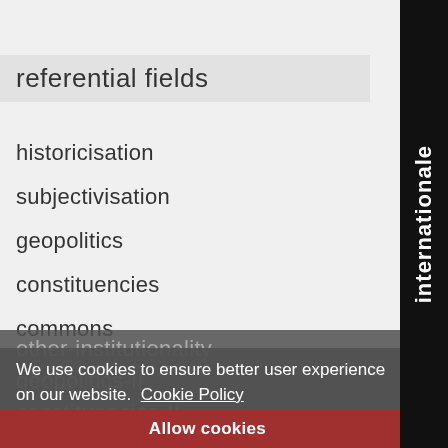referential fields
historicisation
subjectivisation
geopolitics
constituencies
commons
other-institutionality
geopolitics-II
constituencies-II (partial)
subjectivisation-II
constituencies-N
We use cookies to ensure better user experience on our website.  Cookie Policy
Allow cookies
internationale